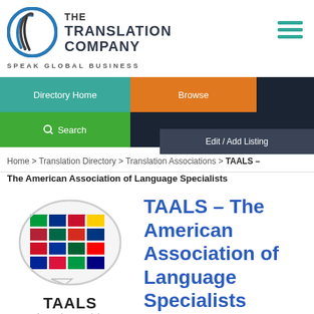[Figure (logo): The Translation Company logo — circular blue and grey icon with swoosh lines, beside bold text THE TRANSLATION COMPANY, tagline SPEAK GLOBAL BUSINESS]
Directory Home | Browse | Search | Edit / Add Listing
Home > Translation Directory > Translation Associations > TAALS –
The American Association of Language Specialists
[Figure (logo): TAALS logo — oval speech bubble filled with various national flags, text TAALS and The American Association of Language Specialists below]
TAALS – The American Association of Language Specialists